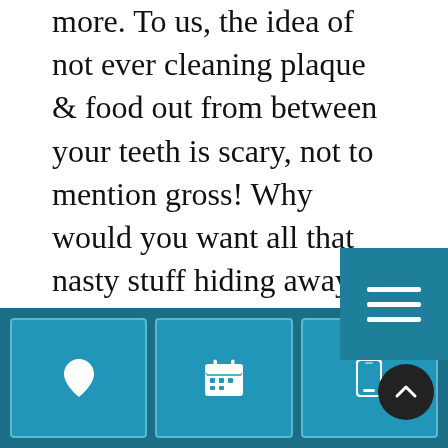more. To us, the idea of not ever cleaning plaque & food out from between your teeth is scary, not to mention gross! Why would you want all that nasty stuff hiding away somewhere in your mouth, feeding bacteria & causing bad breath? You still need to floss every day!
[Figure (other): Teal hamburger menu button (three horizontal white lines on teal background) overlapping the text]
I brush my teeth & floss thoroughly every day. Do I
[Figure (other): Teal close/X button on left side overlapping section header, teal footer bar with three icon buttons (location pin, calendar, phone), and a dark scroll-to-top circle button]